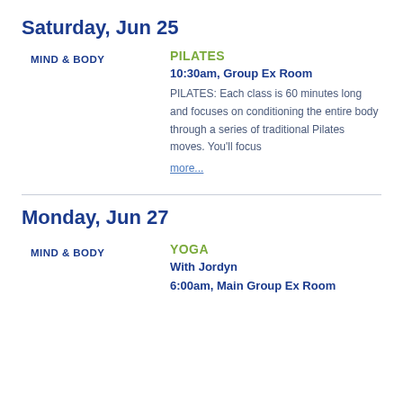Saturday, Jun 25
MIND & BODY
PILATES
10:30am, Group Ex Room
PILATES: Each class is 60 minutes long and focuses on conditioning the entire body through a series of traditional Pilates moves. You'll focus more...
Monday, Jun 27
MIND & BODY
YOGA
With Jordyn
6:00am, Main Group Ex Room